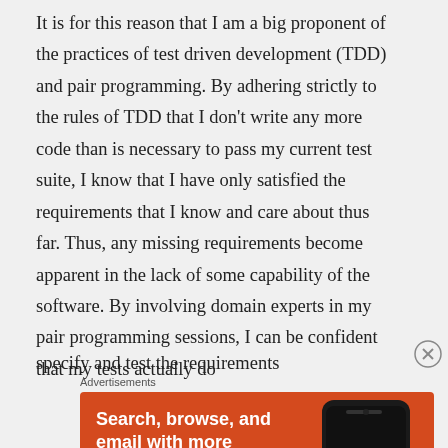It is for this reason that I am a big proponent of the practices of test driven development (TDD) and pair programming. By adhering strictly to the rules of TDD that I don't write any more code than is necessary to pass my current test suite, I know that I have only satisfied the requirements that I know and care about thus far. Thus, any missing requirements become apparent in the lack of some capability of the software. By involving domain experts in my pair programming sessions, I can be confident that my tests actually do
specify and test the requirements
Advertisements
[Figure (other): DuckDuckGo advertisement banner with orange background showing 'Search, browse, and email with more privacy. All in One Free App' with a smartphone image and DuckDuckGo logo]